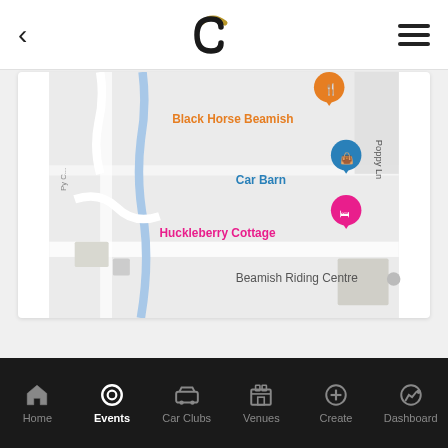[Figure (screenshot): Mobile app top navigation bar with back arrow, logo (gold and black C emblem), and hamburger menu icon]
[Figure (map): Google Maps screenshot showing locations: Black Horse Beamish (orange pin with fork/knife icon), Car Barn (blue pin with bag icon), Huckleberry Cottage (pink pin with bed icon), Beamish Riding Centre label, road network with a river/stream, and text labels including 'Poppy Ln']
Home | Events | Car Clubs | Venues | Create | Dashboard